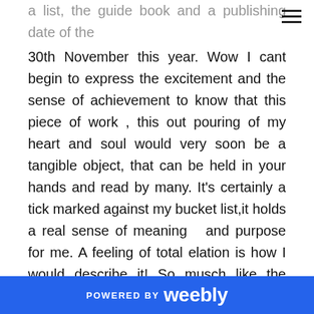a list, the guide book  and a publishing date of the 30th November this year. Wow I cant begin to express the excitement and the sense of achievement to know that this piece of work , this out pouring of my heart and soul would very soon be a tangible object, that can be held in your hands and read by many. It's certainly a tick marked against my bucket list,it holds a real sense of meaning   and purpose for me. A feeling of total elation is how I would describe it! So musch like the excitement of the roller coaster you could say.
So what else happened in my roller coaster week you might ask?
POWERED BY weebly